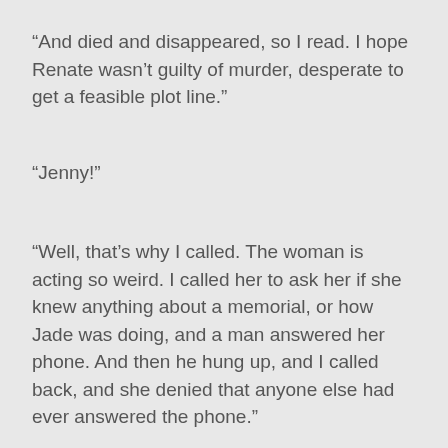"And died and disappeared, so I read. I hope Renate wasn't guilty of murder, desperate to get a feasible plot line."
"Jenny!"
"Well, that's why I called. The woman is acting so weird. I called her to ask her if she knew anything about a memorial, or how Jade was doing, and a man answered her phone. And then he hung up, and I called back, and she denied that anyone else had ever answered the phone."
"Maybe you dialed the wrong number."